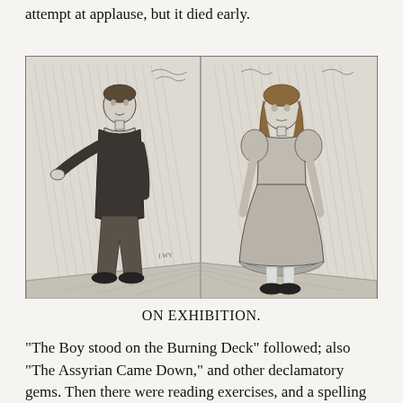attempt at applause, but it died early.
[Figure (illustration): Two children standing on a stage or platform. On the left, a boy in a dark suit with his arm slightly extended. On the right, a girl in a dress with ruffles, holding her skirt slightly. Both are depicted in a Victorian engraving style with hatched shading in the background.]
ON EXHIBITION.
"The Boy stood on the Burning Deck" followed; also "The Assyrian Came Down," and other declamatory gems. Then there were reading exercises, and a spelling fight